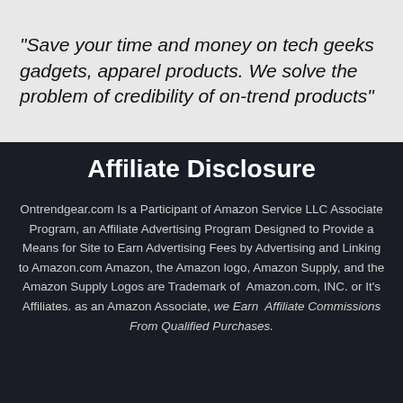"Save your time and money on tech geeks gadgets, apparel products. We solve the problem of credibility of on-trend products"
Affiliate Disclosure
Ontrendgear.com Is a Participant of Amazon Service LLC Associate Program, an Affiliate Advertising Program Designed to Provide a Means for Site to Earn Advertising Fees by Advertising and Linking to Amazon.com Amazon, the Amazon logo, Amazon Supply, and the Amazon Supply Logos are Trademark of Amazon.com, INC. or It's Affiliates. as an Amazon Associate, we Earn Affiliate Commissions From Qualified Purchases.